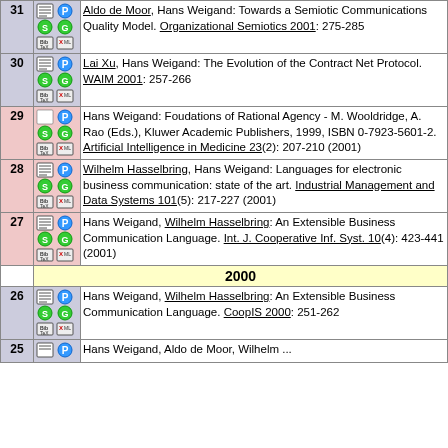| # | Icons | Reference |
| --- | --- | --- |
| 31 | [icons] | Aldo de Moor, Hans Weigand: Towards a Semiotic Communications Quality Model. Organizational Semiotics 2001: 275-285 |
| 30 | [icons] | Lai Xu, Hans Weigand: The Evolution of the Contract Net Protocol. WAIM 2001: 257-266 |
| 29 | [icons] | Hans Weigand: Foudations of Rational Agency - M. Wooldridge, A. Rao (Eds.), Kluwer Academic Publishers, 1999, ISBN 0-7923-5601-2. Artificial Intelligence in Medicine 23(2): 207-210 (2001) |
| 28 | [icons] | Wilhelm Hasselbring, Hans Weigand: Languages for electronic business communication: state of the art. Industrial Management and Data Systems 101(5): 217-227 (2001) |
| 27 | [icons] | Hans Weigand, Wilhelm Hasselbring: An Extensible Business Communication Language. Int. J. Cooperative Inf. Syst. 10(4): 423-441 (2001) |
|  | 2000 |  |
| 26 | [icons] | Hans Weigand, Wilhelm Hasselbring: An Extensible Business Communication Language. CoopIS 2000: 251-262 |
| 25 | [icons] | Hans Weigand, Aldo de Moor, Wilhelm ... |